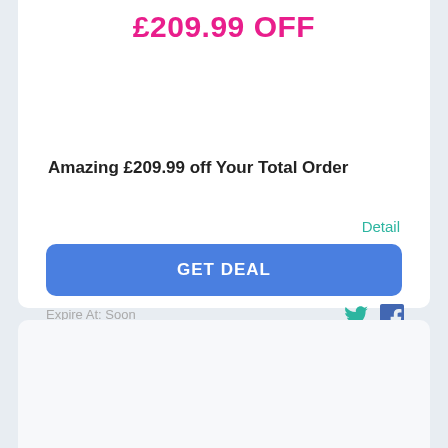£209.99 OFF
Amazing £209.99 off Your Total Order
Detail
GET DEAL
Expire At: Soon
132
7